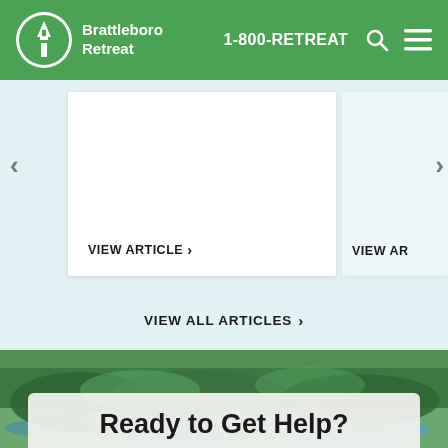Brattleboro Retreat | 1-800-RETREAT
VIEW ARTICLE ›
VIEW AR
VIEW ALL ARTICLES ›
[Figure (photo): Aerial view of Brattleboro Retreat campus with river, forested islands and green landscape]
Ready to Get Help?